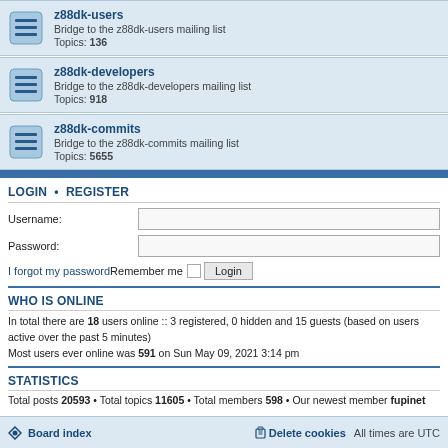z88dk-users — Bridge to the z88dk-users mailing list. Topics: 136
z88dk-developers — Bridge to the z88dk-developers mailing list. Topics: 918
z88dk-commits — Bridge to the z88dk-commits mailing list. Topics: 5655
LOGIN • REGISTER
Username:
Password:
I forgot my password
Remember me
WHO IS ONLINE
In total there are 18 users online :: 3 registered, 0 hidden and 15 guests (based on users active over the past 5 minutes)
Most users ever online was 591 on Sun May 09, 2021 3:14 pm
STATISTICS
Total posts 20593 • Total topics 11605 • Total members 598 • Our newest member fupinet
Board index    Delete cookies    All times are UTC